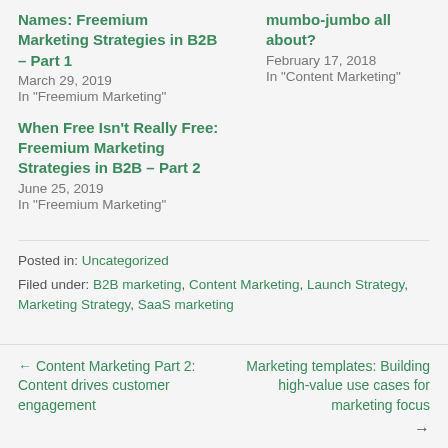Names: Freemium Marketing Strategies in B2B – Part 1
March 29, 2019
In "Freemium Marketing"
mumbo-jumbo all about?
February 17, 2018
In "Content Marketing"
When Free Isn't Really Free: Freemium Marketing Strategies in B2B – Part 2
June 25, 2019
In "Freemium Marketing"
Posted in: Uncategorized
Filed under: B2B marketing, Content Marketing, Launch Strategy, Marketing Strategy, SaaS marketing
← Content Marketing Part 2: Content drives customer engagement
Marketing templates: Building high-value use cases for marketing focus →